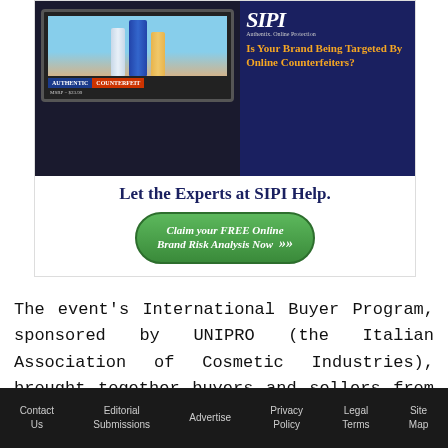[Figure (illustration): SIPI Authentix Online Protection advertisement. Top half shows a laptop screen comparing authentic vs counterfeit cosmetic products with labels 'AUTHENTIC' and 'COUNTERFEIT' in blue and red. Right side has dark navy background with orange bold text: 'Is Your Brand Being Targeted By Online Counterfeiters?' Bottom shows 'Let the Experts at SIPI Help.' with a green CTA button 'Claim your FREE Online Brand Risk Analysis Now']
The event's International Buyer Program, sponsored by UNIPRO (the Italian Association of Cosmetic Industries), brought together buyers and sellers from around the world, and CPNA also dedicated sections of the floor to distinct country pavilions,
Contact Us   Editorial Submissions   Advertise   Privacy Policy   Legal Terms   Site Map